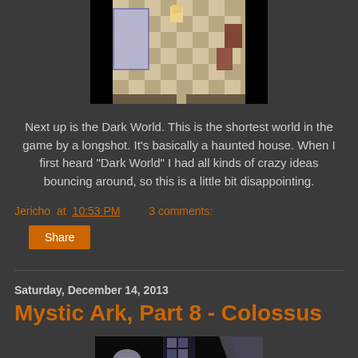[Figure (screenshot): Top-down RPG game screenshot showing a checkered floor interior with a character sprite and furniture]
Next up is the Dark World. This is the shortest world in the game by a longshot. It's basically a haunted house. When I first heard "Dark World" I had all kinds of crazy ideas bouncing around, so this is a little bit disappointing.
Jericho at 10:53 PM   3 comments:
Share
Saturday, December 14, 2013
Mystic Ark, Part 8 - Colossus
[Figure (screenshot): Partial bottom game screenshot showing dark background with light-colored sprite elements]